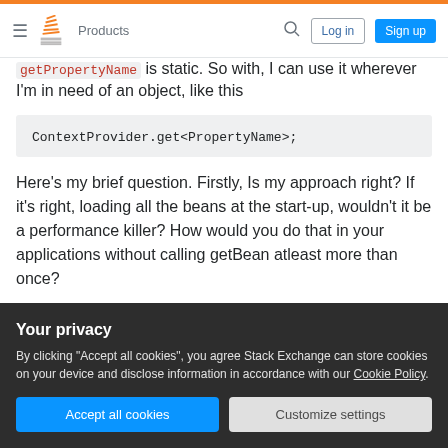Stack Overflow navigation: hamburger menu, logo, Products, search, Log in, Sign up
getPropertyName is static. So with, I can use it wherever I'm in need of an object, like this
ContextProvider.get<PropertyName>;
Here's my brief question. Firstly, Is my approach right? If it's right, loading all the beans at the start-up, wouldn't it be a performance killer? How would you do that in your applications without calling getBean atleast more than once?
If you were to design a web application & you were...
Your privacy
By clicking "Accept all cookies", you agree Stack Exchange can store cookies on your device and disclose information in accordance with our Cookie Policy.
Accept all cookies
Customize settings